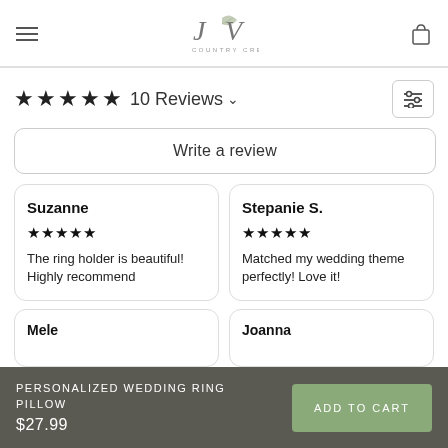JV Country Creations
★★★★★ 10 Reviews
Write a review
Suzanne
★★★★★
The ring holder is beautiful! Highly recommend
Stepanie S.
★★★★★
Matched my wedding theme perfectly! Love it!
Mele
Joanna
PERSONALIZED WEDDING RING PILLOW
$27.99
ADD TO CART